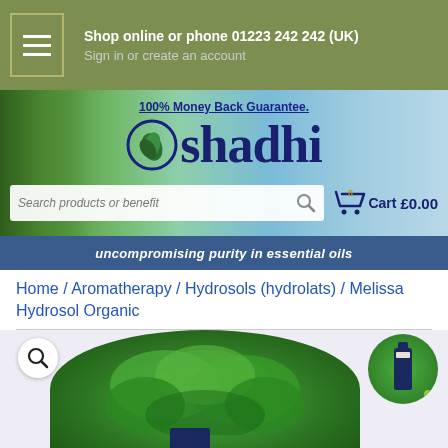Shop online or phone 01223 242 242 (UK)
Sign in or create an account
[Figure (screenshot): Oshadhi website banner with logo, 100% Money Back Guarantee text, search box, cart showing £0.00, and tagline 'uncompromising purity in essential oils']
Home / Aromatherapy / Hydrosols (hydrolats) / Melissa Hydrosol Organic
[Figure (photo): Product image area showing green herbs/melissa plant leaves, with magnify icon and small product bottle thumbnail]